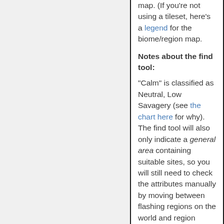map. (If you're not using a tileset, here's a legend for the biome/region map.
Notes about the find tool:
"Calm" is classified as Neutral, Low Savagery (see the chart here for why). The find tool will also only indicate a general area containing suitable sites, so you will still need to check the attributes manually by moving between flashing regions on the world and region maps (with the arrow keys or numpad) and by moving around on the local map (with u m